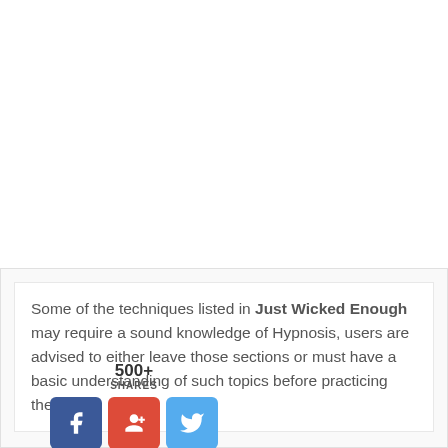Some of the techniques listed in Just Wicked Enough may require a sound knowledge of Hypnosis, users are advised to either leave those sections or must have a basic understanding of such topics before practicing them.
[Figure (infographic): Social share widget showing 500+ SHARES with three buttons: Facebook (blue), Google+ (red), Twitter (light blue)]